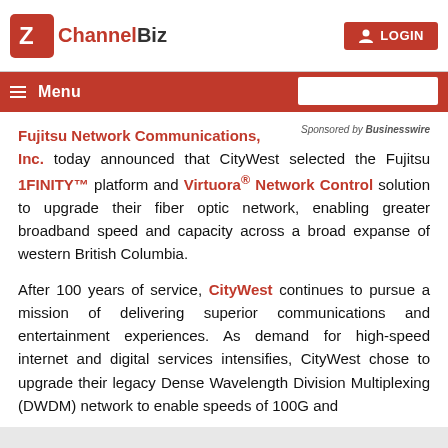ChannelBiz | LOGIN
Menu
Fujitsu Network Communications, Inc. today announced that CityWest selected the Fujitsu 1FINITY™ platform and Virtuora® Network Control solution to upgrade their fiber optic network, enabling greater broadband speed and capacity across a broad expanse of western British Columbia.
After 100 years of service, CityWest continues to pursue a mission of delivering superior communications and entertainment experiences. As demand for high-speed internet and digital services intensifies, CityWest chose to upgrade their legacy Dense Wavelength Division Multiplexing (DWDM) network to enable speeds of 100G and